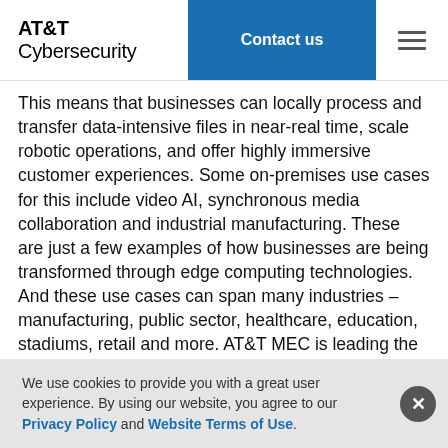AT&T Cybersecurity | Contact us
This means that businesses can locally process and transfer data-intensive files in near-real time, scale robotic operations, and offer highly immersive customer experiences. Some on-premises use cases for this include video AI, synchronous media collaboration and industrial manufacturing. These are just a few examples of how businesses are being transformed through edge computing technologies. And these use cases can span many industries – manufacturing, public sector, healthcare, education, stadiums, retail and more. AT&T MEC is leading the way in the rapidly evolving private cellular space driving the right innovation today and tomorrow. CRN has named AT&T to its 2021 Edge Computing 100 list – with recognition as one of those driving innovation in the IoT and 5G Edge Services
We use cookies to provide you with a great user experience. By using our website, you agree to our Privacy Policy and Website Terms of Use.